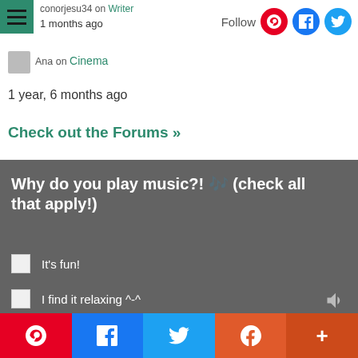conorjesu34 on Writer
1 months ago
Ana on Cinema
1 year, 6 months ago
Check out the Forums »
Why do you play music?! 🎵 (check all that apply!)
It's fun!
I find it relaxing ^-^
It's my hobby 😊
To build my confidence